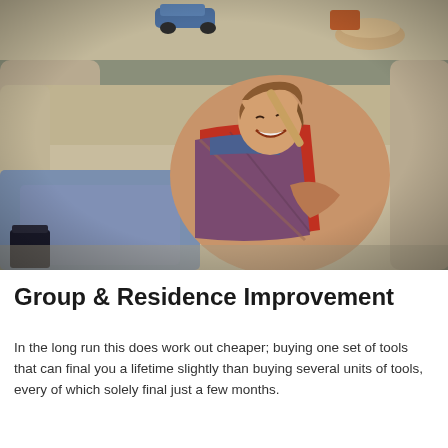[Figure (photo): A smiling young boy sitting on a couch holding a drumstick, wearing a red plaid shirt over a blue plaid shirt and jeans. The background shows a living room setting.]
Group & Residence Improvement
In the long run this does work out cheaper; buying one set of tools that can final you a lifetime slightly than buying several units of tools, every of which solely final just a few months.